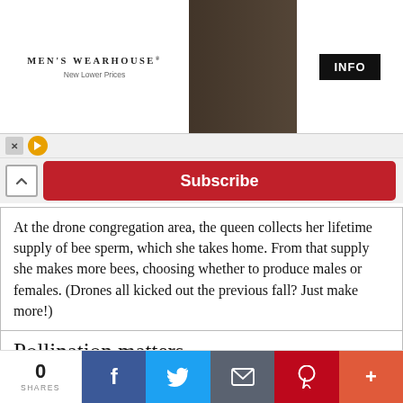[Figure (photo): Men's Wearhouse advertisement banner showing a couple in formal attire and a man in a suit, with INFO button]
Subscribe
At the drone congregation area, the queen collects her lifetime supply of bee sperm, which she takes home. From that supply she makes more bees, choosing whether to produce males or females. (Drones all kicked out the previous fall? Just make more!)
Pollination matters
Bees and other pollinators play a significant role in
0 SHARES  f  Twitter  Email  Pinterest  +